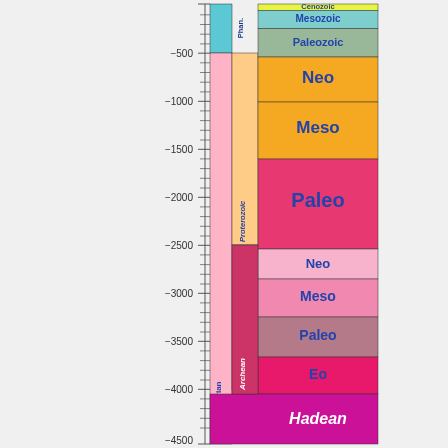[Figure (other): Geologic time scale chart showing eons, eras, and periods on a vertical axis from 0 to -4500 million years. Includes Phanerozoic (Cenozoic, Mesozoic, Paleozoic), Precambrian divided into Proterozoic (Neo, Meso, Paleo) and Archean (Neo, Meso, Paleo, Eo), and Hadean at the bottom.]